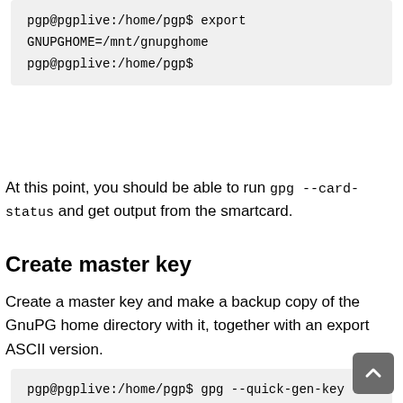[Figure (screenshot): Terminal code block showing: pgp@pgplive:/home/pgp$ export GNUPGHOME=/mnt/gnupghome  pgp@pgplive:/home/pgp$]
At this point, you should be able to run gpg --card-status and get output from the smartcard.
Create master key
Create a master key and make a backup copy of the GnuPG home directory with it, together with an export ASCII version.
[Figure (screenshot): Terminal code block showing: pgp@pgplive:/home/pgp$ gpg --quick-gen-key "Simon Josefsson <simon@josefsson.org>" ed25519 sign 216d  gpg: keybox '/mnt/gnupghome/pubring.kbx' created]